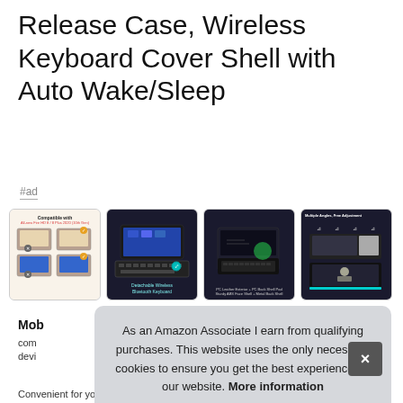Release Case, Wireless Keyboard Cover Shell with Auto Wake/Sleep
#ad
[Figure (photo): Four product thumbnail images of a tablet keyboard case: 1) compatibility chart on light background, 2) tablet with detachable wireless Bluetooth keyboard on dark background, 3) PC leather exterior and PC back shell on dark background, 4) multiple angles and free adjustment on dark background]
Mob
com
devi
As an Amazon Associate I earn from qualifying purchases. This website uses the only necessary cookies to ensure you get the best experience on our website. More information
Convenient for your trip, business and studying. Fits your